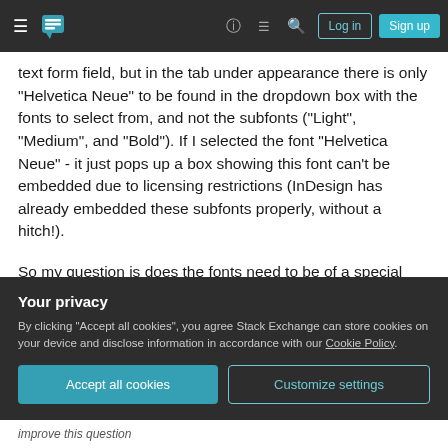Stack Exchange navigation bar with Log in and Sign up buttons
text form field, but in the tab under appearance there is only "Helvetica Neue" to be found in the dropdown box with the fonts to select from, and not the subfonts ("Light", "Medium", and "Bold"). If I selected the font "Helvetica Neue" - it just pops up a box showing this font can't be embedded due to licensing restrictions (InDesign has already embedded these subfonts properly, without a hitch!).
So my question is does the fonts need to be of a special type perhaps for this to be possible? Need to be embedded in a specific way? Or something
Your privacy
By clicking "Accept all cookies", you agree Stack Exchange can store cookies on your device and disclose information in accordance with our Cookie Policy.
improve this question